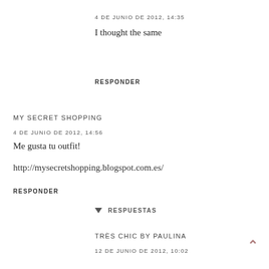4 DE JUNIO DE 2012, 14:35
I thought the same
RESPONDER
MY SECRET SHOPPING
4 DE JUNIO DE 2012, 14:56
Me gusta tu outfit!
http://mysecretshopping.blogspot.com.es/
RESPONDER
RESPUESTAS
TRÈS CHIC BY PAULINA
12 DE JUNIO DE 2012, 10:02